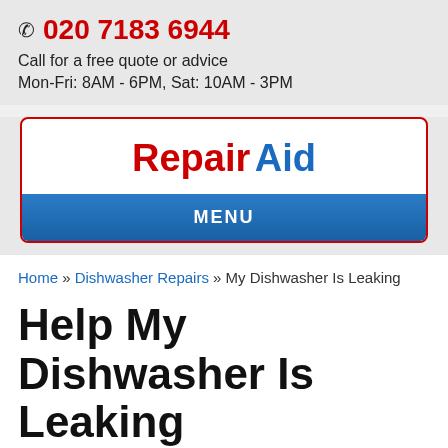020 7183 6944
Call for a free quote or advice
Mon-Fri: 8AM - 6PM, Sat: 10AM - 3PM
[Figure (logo): Repair Aid logo with red 'Repair' and blue 'Aid' text, red border, with a blue MENU navigation bar below]
Home » Dishwasher Repairs » My Dishwasher Is Leaking
Help My Dishwasher Is Leaking
The sight of a leaking dishwasher is probably